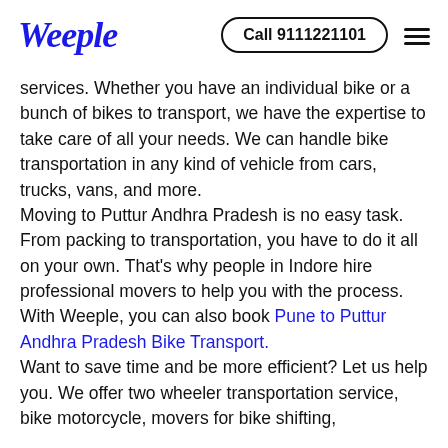Weeple | Call 9111221101
services. Whether you have an individual bike or a bunch of bikes to transport, we have the expertise to take care of all your needs. We can handle bike transportation in any kind of vehicle from cars, trucks, vans, and more.
Moving to Puttur Andhra Pradesh is no easy task. From packing to transportation, you have to do it all on your own. That's why people in Indore hire professional movers to help you with the process. With Weeple, you can also book Pune to Puttur Andhra Pradesh Bike Transport.
Want to save time and be more efficient? Let us help you. We offer two wheeler transportation service, bike motorcycle, movers for bike shifting,